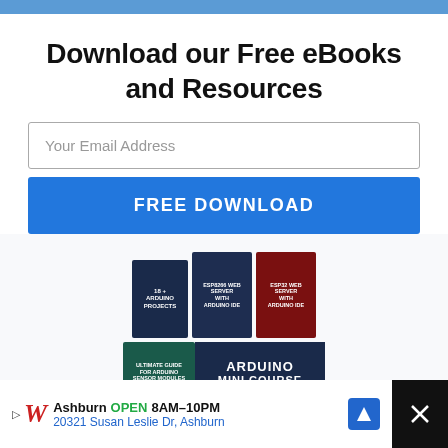Download our Free eBooks and Resources
Your Email Address
FREE DOWNLOAD
[Figure (illustration): Three ebook covers shown side by side: '18+ Arduino Projects' (dark blue), 'ESP8266 Web Server with Arduino IDE' (navy), 'ESP32 Web Server with Arduino IDE' (dark red). Below: 'Ultimate Guide for Arduino Sensor Modules' (teal) and 'Arduino Mini Course' (dark blue) side by side.]
Ashburn OPEN 8AM–10PM 20321 Susan Leslie Dr, Ashburn